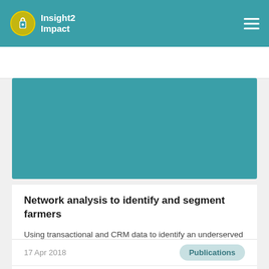Insight2Impact
Network analysis to identify and segment farmers
Using transactional and CRM data to identify an underserved consumer segment
17 Apr 2018
Publications